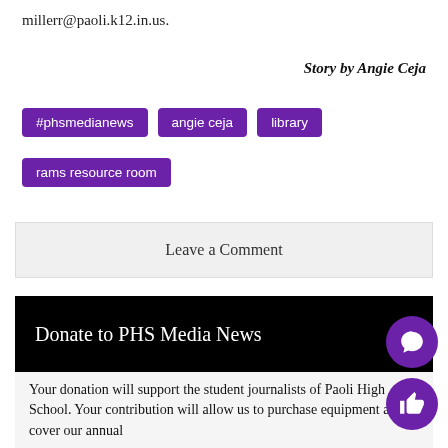millerr@paoli.k12.in.us.
Story by Angie Ceja
#phsmedianews
angie ceja
library
rams resource room
Leave a Comment
Donate to PHS Media News
Your donation will support the student journalists of Paoli High School. Your contribution will allow us to purchase equipment and cover our annual